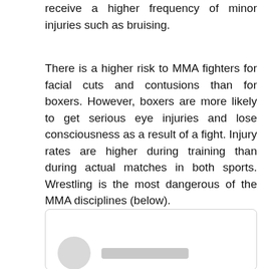receive a higher frequency of minor injuries such as bruising.
There is a higher risk to MMA fighters for facial cuts and contusions than for boxers. However, boxers are more likely to get serious eye injuries and lose consciousness as a result of a fight. Injury rates are higher during training than during actual matches in both sports. Wrestling is the most dangerous of the MMA disciplines (below).
[Figure (photo): A partially visible image with a person avatar/profile circle and a name bar placeholder at the bottom left, inside a rounded border box.]